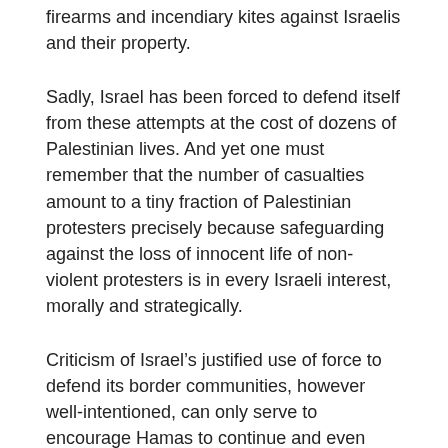firearms and incendiary kites against Israelis and their property.
Sadly, Israel has been forced to defend itself from these attempts at the cost of dozens of Palestinian lives. And yet one must remember that the number of casualties amount to a tiny fraction of Palestinian protesters precisely because safeguarding against the loss of innocent life of non-violent protesters is in every Israeli interest, morally and strategically.
Criticism of Israel’s justified use of force to defend its border communities, however well-intentioned, can only serve to encourage Hamas to continue and even escalate these aggressions.
The blame for the regrettable loss of life must ultimately rest with the Hamas regime which controls Gaza and bears responsibility for aggressions and provocations that emanate from territory under its control.
Australians who support the cause of peace should devote their efforts to apply pressure on Hamas to desist from this morally reprehensible campaign that, if unchecked, can only lead to